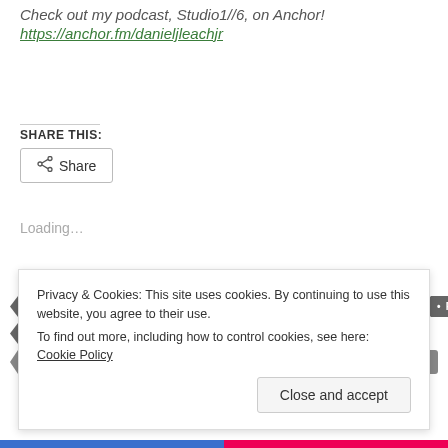Check out my podcast, Studio1//6, on Anchor!
https://anchor.fm/danieljleachjr
SHARE THIS:
Share
Loading...
ANSWER • BIBLE • CHRISTIAN BIKER CLUB • DONATING • FAITH • GOD • JESUS CHRIST • NY • POST BY VOICE • PRAY
Privacy & Cookies: This site uses cookies. By continuing to use this website, you agree to their use.
To find out more, including how to control cookies, see here: Cookie Policy
Close and accept